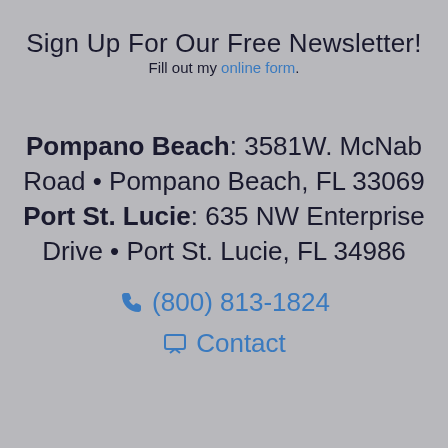Sign Up For Our Free Newsletter!
Fill out my online form.
Pompano Beach: 3581W. McNab Road • Pompano Beach, FL 33069 Port St. Lucie: 635 NW Enterprise Drive • Port St. Lucie, FL 34986
📞 (800) 813-1824
💬 Contact